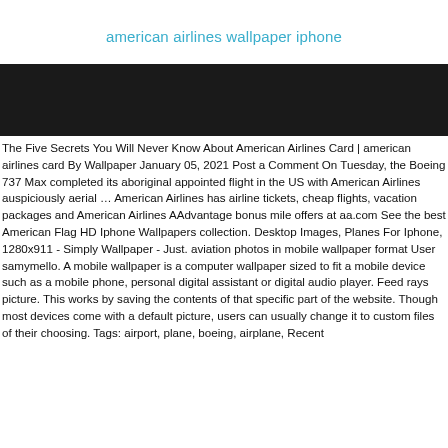american airlines wallpaper iphone
[Figure (photo): Dark/black banner image area, likely a header photo for the article about American Airlines wallpaper]
The Five Secrets You Will Never Know About American Airlines Card | american airlines card By Wallpaper January 05, 2021 Post a Comment On Tuesday, the Boeing 737 Max completed its aboriginal appointed flight in the US with American Airlines auspiciously aerial … American Airlines has airline tickets, cheap flights, vacation packages and American Airlines AAdvantage bonus mile offers at aa.com See the best American Flag HD Iphone Wallpapers collection. Desktop Images, Planes For Iphone, 1280x911 - Simply Wallpaper - Just. aviation photos in mobile wallpaper format User samymello. A mobile wallpaper is a computer wallpaper sized to fit a mobile device such as a mobile phone, personal digital assistant or digital audio player. Feed rays picture. This works by saving the contents of that specific part of the website. Though most devices come with a default picture, users can usually change it to custom files of their choosing. Tags: airport, plane, boeing, airplane, Recent